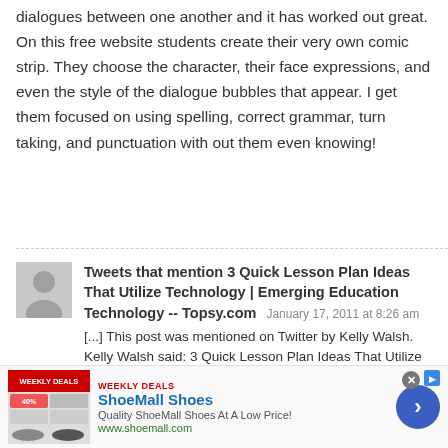dialogues between one another and it has worked out great. On this free website students create their very own comic strip. They choose the character, their face expressions, and even the style of the dialogue bubbles that appear. I get them focused on using spelling, correct grammar, turn taking, and punctuation with out them even knowing!
Tweets that mention 3 Quick Lesson Plan Ideas That Utilize Technology | Emerging Education Technology -- Topsy.com  January 17, 2011 at 8:26 am
[...] This post was mentioned on Twitter by Kelly Walsh. Kelly Walsh said: 3 Quick Lesson Plan Ideas That Utilize Technology: http://bit.ly/ehOc3N #edtech [...]
[Figure (other): Advertisement for ShoeMall Shoes with weekly deals label, shoe product image, blue arrow button, and close button. Text: ShoeMall Shoes, Quality ShoeMall Shoes At A Low Price!, www.shoemall.com]